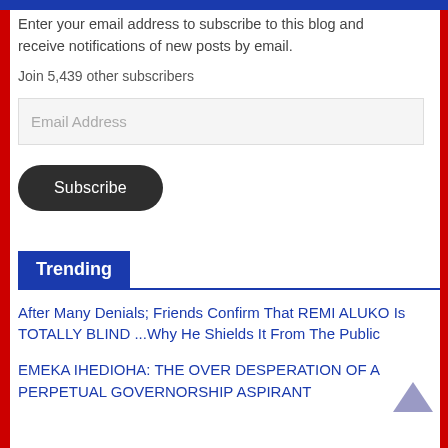Enter your email address to subscribe to this blog and receive notifications of new posts by email.
Join 5,439 other subscribers
Email Address
Subscribe
Trending
After Many Denials; Friends Confirm That REMI ALUKO Is TOTALLY BLIND ...Why He Shields It From The Public
EMEKA IHEDIOHA: THE OVER DESPERATION OF A PERPETUAL GOVERNORSHIP ASPIRANT